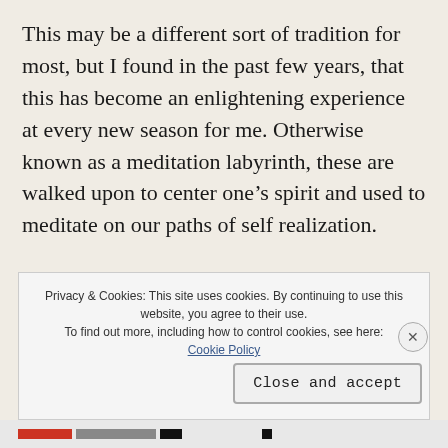This may be a different sort of tradition for most, but I found in the past few years, that this has become an enlightening experience at every new season for me. Otherwise known as a meditation labyrinth, these are walked upon to center one's spirit and used to meditate on our paths of self realization.
Privacy & Cookies: This site uses cookies. By continuing to use this website, you agree to their use. To find out more, including how to control cookies, see here: Cookie Policy
Close and accept